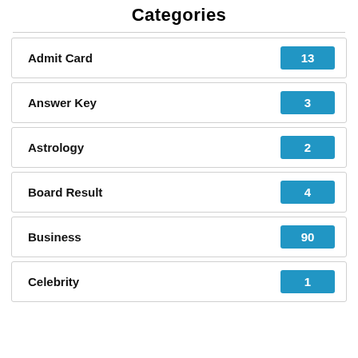Categories
Admit Card 13
Answer Key 3
Astrology 2
Board Result 4
Business 90
Celebrity 1